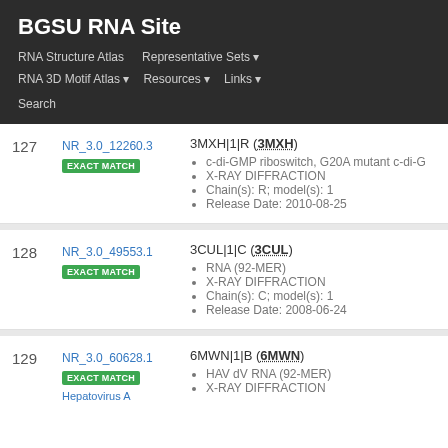BGSU RNA Site
RNA Structure Atlas | Representative Sets ▾ | RNA 3D Motif Atlas ▾ | Resources ▾ | Links ▾ | Search
| # | ID | Details |
| --- | --- | --- |
| 127 | NR_3.0_12260.3
EXACT MATCH | 3MXH|1|R (3MXH)
• c-di-GMP riboswitch, G20A mutant c-di-G...
• X-RAY DIFFRACTION
• Chain(s): R; model(s): 1
• Release Date: 2010-08-25 |
| 128 | NR_3.0_49553.1
EXACT MATCH | 3CUL|1|C (3CUL)
• RNA (92-MER)
• X-RAY DIFFRACTION
• Chain(s): C; model(s): 1
• Release Date: 2008-06-24 |
| 129 | NR_3.0_60628.1
EXACT MATCH
Hepatovirus A | 6MWN|1|B (6MWN)
• HAV dV RNA (92-MER)
• X-RAY DIFFRACTION |